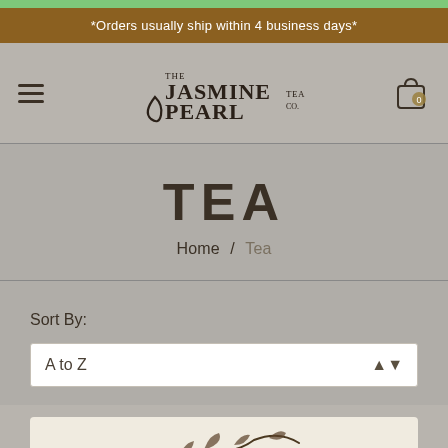*Orders usually ship within 4 business days*
[Figure (logo): The Jasmine Pearl Tea Co. logo with decorative script lettering and swirl]
TEA
Home / Tea
Sort By:
A to Z
[Figure (illustration): Decorative tea leaf/branch illustration at bottom of page]